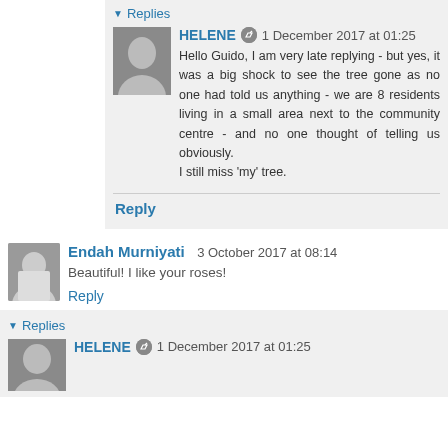Replies
HELENE   1 December 2017 at 01:25
Hello Guido, I am very late replying - but yes, it was a big shock to see the tree gone as no one had told us anything - we are 8 residents living in a small area next to the community centre - and no one thought of telling us obviously.
I still miss 'my' tree.
Reply
Endah Murniyati  3 October 2017 at 08:14
Beautiful! I like your roses!
Reply
Replies
HELENE   1 December 2017 at 01:25